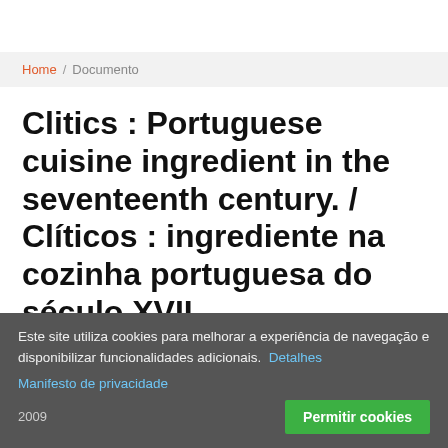Home / Documento
Clitics : Portuguese cuisine ingredient in the seventeenth century. / Clíticos : ingrediente na cozinha portuguesa do século XVII.
AUTOR(ES)
Este site utiliza cookies para melhorar a experiência de navegação e disponibilizar funcionalidades adicionais. Detalhes
Manifesto de privacidade
2009
Permitir cookies